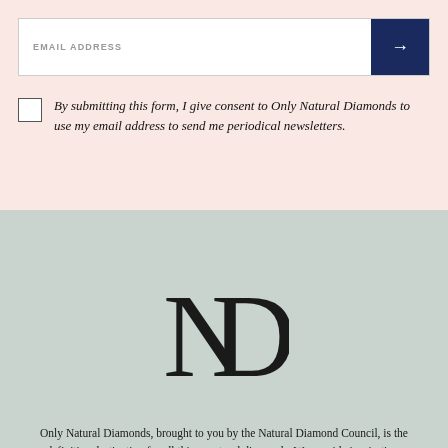EMAIL ADDRESS
By submitting this form, I give consent to Only Natural Diamonds to use my email address to send me periodical newsletters.
[Figure (logo): ND monogram logo for Only Natural Diamonds — large serif N and D letterforms overlapping]
Only Natural Diamonds, brought to you by the Natural Diamond Council, is the definitive destination for all things natural diamonds. We provide inspiration, insights and information on the world of real, natural diamonds recovered from the earth, including a behind the